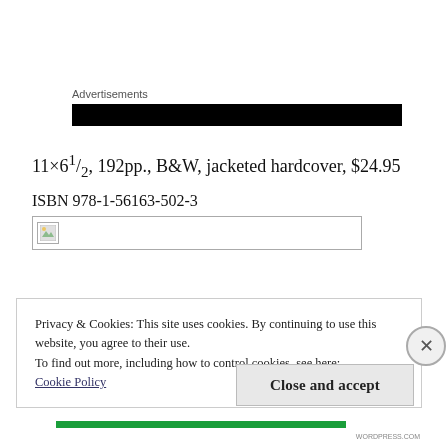Advertisements
[Figure (other): Black advertisement banner bar]
11×61/2, 192pp., B&W, jacketed hardcover, $24.95
ISBN 978-1-56163-502-3
[Figure (other): Broken image placeholder]
Privacy & Cookies: This site uses cookies. By continuing to use this website, you agree to their use.
To find out more, including how to control cookies, see here:
Cookie Policy
Close and accept